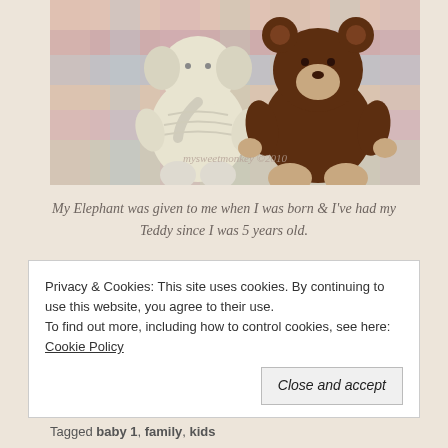[Figure (photo): Two stuffed animals (a white/cream elephant and a dark brown teddy bear) sitting on a colorful plaid blanket. Watermark reads 'mysweetmonkey ©2010']
My Elephant was given to me when I was born & I've had my Teddy since I was 5 years old.
Loading...
Privacy & Cookies: This site uses cookies. By continuing to use this website, you agree to their use.
To find out more, including how to control cookies, see here: Cookie Policy
Close and accept
Tagged baby 1, family, kids